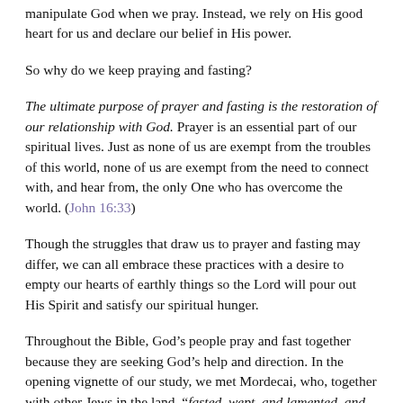manipulate God when we pray. Instead, we rely on His good heart for us and declare our belief in His power.
So why do we keep praying and fasting?
The ultimate purpose of prayer and fasting is the restoration of our relationship with God. Prayer is an essential part of our spiritual lives. Just as none of us are exempt from the troubles of this world, none of us are exempt from the need to connect with, and hear from, the only One who has overcome the world. (John 16:33)
Though the struggles that draw us to prayer and fasting may differ, we can all embrace these practices with a desire to empty our hearts of earthly things so the Lord will pour out His Spirit and satisfy our spiritual hunger.
Throughout the Bible, God’s people pray and fast together because they are seeking God’s help and direction. In the opening vignette of our study, we met Mordecai, who, together with other Jews in the land, “fasted, wept, and lamented, and many lay in sackcloth and ashes” (Esther 4:3) as an expression of their